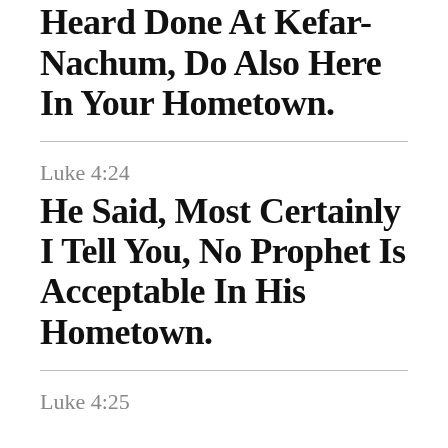Whatever We Have Heard Done At Kefar-Nachum, Do Also Here In Your Hometown.
Luke 4:24
He Said, Most Certainly I Tell You, No Prophet Is Acceptable In His Hometown.
Luke 4:25